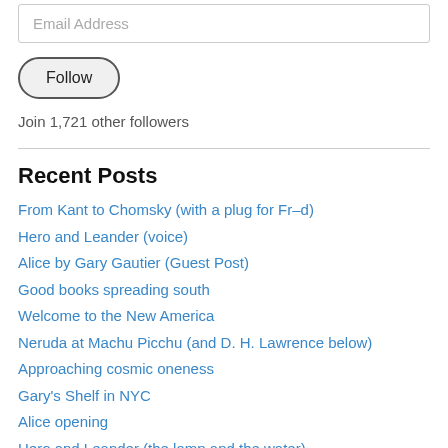Email Address
Follow
Join 1,721 other followers
Recent Posts
From Kant to Chomsky (with a plug for Fr–d)
Hero and Leander (voice)
Alice by Gary Gautier (Guest Post)
Good books spreading south
Welcome to the New America
Neruda at Machu Picchu (and D. H. Lawrence below)
Approaching cosmic oneness
Gary's Shelf in NYC
Alice opening
Hero and Leander (the lamp and the water)
Alfredo and the pomegranate tree